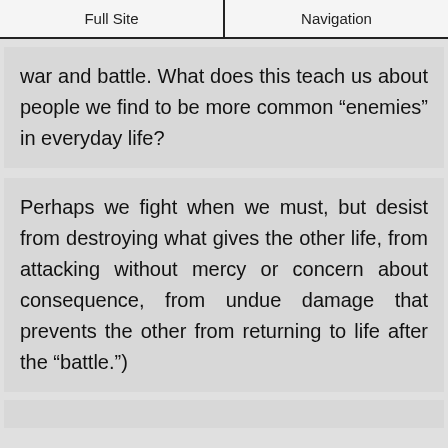Full Site | Navigation
war and battle. What does this teach us about people we find to be more common “enemies” in everyday life?
Perhaps we fight when we must, but desist from destroying what gives the other life, from attacking without mercy or concern about consequence, from undue damage that prevents the other from returning to life after the “battle.”)